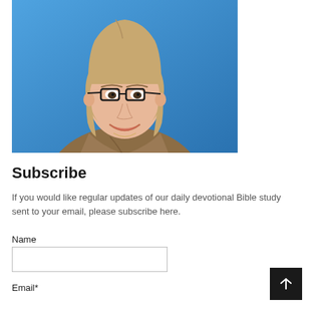[Figure (photo): Headshot of a smiling woman with shoulder-length blonde hair, wearing glasses and a brown wrap-style blouse, against a blue background.]
Subscribe
If you would like regular updates of our daily devotional Bible study sent to your email, please subscribe here.
Name
Email*